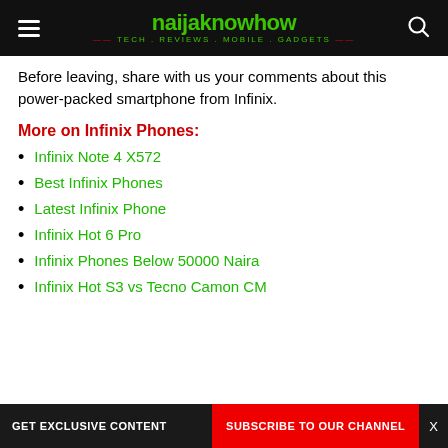naijaknowhow — TECH . REVIEWS . MOBILE . GADGETS
Before leaving, share with us your comments about this power-packed smartphone from Infinix.
More on Infinix Phones:
Infinix Note 4 X572
Best Infinix Phones
Latest Infinix Phone
Infinix Hot 6 Pro
Infinix Phones Below 50000 Naira
Infinix Hot S3 vs Tecno Camon CM
GET EXCLUSIVE CONTENT  SUBSCRIBE TO OUR CHANNEL  X